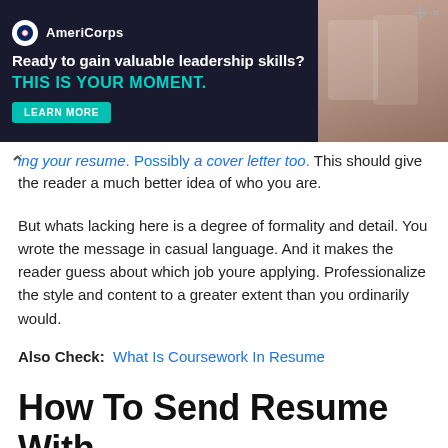[Figure (screenshot): AmeriCorps advertisement banner: dark background with logo, headline 'Ready to gain valuable leadership skills?', subheadline 'THIS IS YOUR MOMENT.' in teal, a 'LEARN MORE' button, and a photo of people on the right side.]
ing your resume. Possibly a cover letter too. This should give the reader a much better idea of who you are.
But whats lacking here is a degree of formality and detail. You wrote the message in casual language. And it makes the reader guess about which job youre applying. Professionalize the style and content to a greater extent than you ordinarily would.
Also Check:  What Is Coursework In Resume
How To Send Resume With Reference In Mail